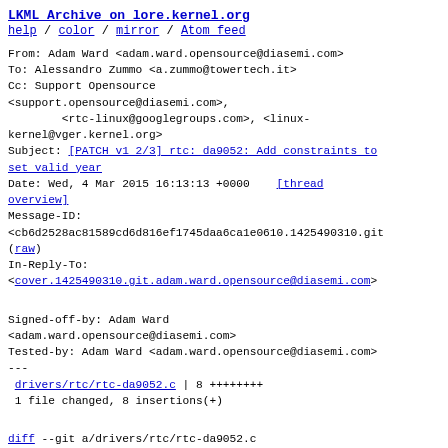LKML Archive on lore.kernel.org
help / color / mirror / Atom feed
From: Adam Ward <adam.ward.opensource@diasemi.com>
To: Alessandro Zummo <a.zummo@towertech.it>
Cc: Support Opensource
<support.opensource@diasemi.com>,
        <rtc-linux@googlegroups.com>, <linux-kernel@vger.kernel.org>
Subject: [PATCH v1 2/3] rtc: da9052: Add constraints to set valid year
Date: Wed, 4 Mar 2015 16:13:13 +0000    [thread overview]
Message-ID:
<cb6d2528ac81589cd6d816ef1745daa6ca1e0610.1425490310.git
(raw)
In-Reply-To:
<cover.1425490310.git.adam.ward.opensource@diasemi.com>
Signed-off-by: Adam Ward
<adam.ward.opensource@diasemi.com>
Tested-by: Adam Ward <adam.ward.opensource@diasemi.com>
---
 drivers/rtc/rtc-da9052.c | 8 ++++++++
 1 file changed, 8 insertions(+)
diff --git a/drivers/rtc/rtc-da9052.c
b/drivers/rtc/rtc-da9052.c
index ead02fa..acc3e5a 100644
--- a/drivers/rtc/rtc-da9052.c